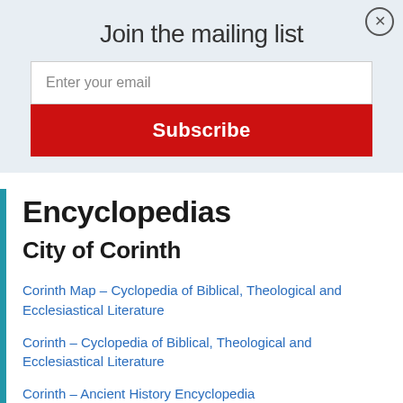Join the mailing list
Enter your email
Subscribe
Encyclopedias
City of Corinth
Corinth Map – Cyclopedia of Biblical, Theological and Ecclesiastical Literature
Corinth – Cyclopedia of Biblical, Theological and Ecclesiastical Literature
Corinth – Ancient History Encyclopedia
Bridgeway Bible Dictionary Corinth